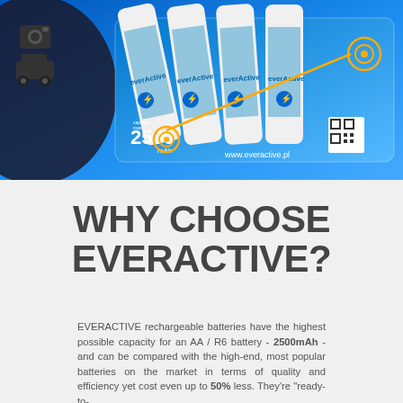[Figure (photo): Product photo of everActive rechargeable AA batteries on blue background with packaging showing 2500mAh capacity, camera and car icons, QR code, and www.everactive.pl website]
WHY CHOOSE EVERACTIVE?
EVERACTIVE rechargeable batteries have the highest possible capacity for an AA / R6 battery - 2500mAh - and can be compared with the high-end, most popular batteries on the market in terms of quality and efficiency yet cost even up to 50% less. They're "ready-to-